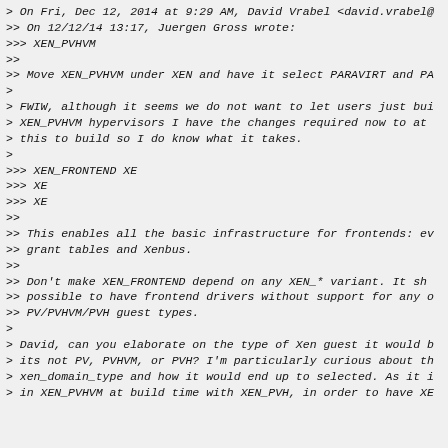> On Fri, Dec 12, 2014 at 9:29 AM, David Vrabel <david.vrabel@...
>> On 12/12/14 13:17, Juergen Gross wrote:
>>> XEN_PVHVM
>>
>> Move XEN_PVHVM under XEN and have it select PARAVIRT and PA...
>
> FWIW, although it seems we do not want to let users just bui...
> XEN_PVHVM hypervisors I have the changes required now to at...
> this to build so I do know what it takes.
>
>>> XEN_FRONTEND                                              XE
>>>                                                           XE
>>>                                                           XE
>>
>> This enables all the basic infrastructure for frontends: ev...
>> grant tables and Xenbus.
>>
>> Don't make XEN_FRONTEND depend on any XEN_* variant.  It sh...
>> possible to have frontend drivers without support for any o...
>> PV/PVHVM/PVH guest types.
>
> David, can you elaborate on the type of Xen guest it would b...
> its not PV, PVHVM, or PVH? I'm particularly curious about th...
> xen_domain_type and how it would end up to selected. As it i...
> in XEN_PVHVM at build time with XEN_PVH, in order to have XE...